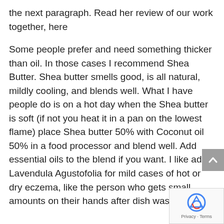the next paragraph. Read her review of our work together, here
Some people prefer and need something thicker than oil. In those cases I recommend Shea Butter. Shea butter smells good, is all natural, mildly cooling, and blends well. What I have people do is on a hot day when the Shea butter is soft (if not you heat it in a pan on the lowest flame) place Shea butter 50% with Coconut oil 50% in a food processor and blend well. Add essential oils to the blend if you want. I like add Lavendula Agustofolia for mild cases of hot or dry eczema, like the person who gets small amounts on their hands after dish washing.